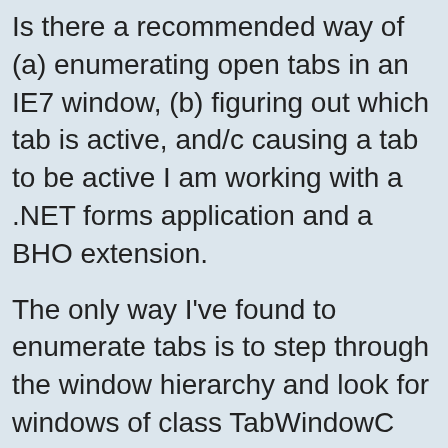Is there a recommended way of (a) enumerating open tabs in an IE7 window, (b) figuring out which tab is active, and/or (c) causing a particular tab to be active I am working with a .NET forms application and a BHO extension.
The only way I've found to enumerate tabs is to step through the window hierarchy and look for windows of class TabWindowClass. This seems awkward and doesn't let me do (b) or (c). If this is the recommended way to work with tabs, does someone have a nice clean example of, or pointer to, a reasonably robust way, how to get IWebBrowser2 interfaces for the open tabs, activate tabs, etc.
Thanks for any tips you have!
-Dan
http://research.microsoft.com/~dan
(Interestingly, MSDN forums _insists_ that my URL is